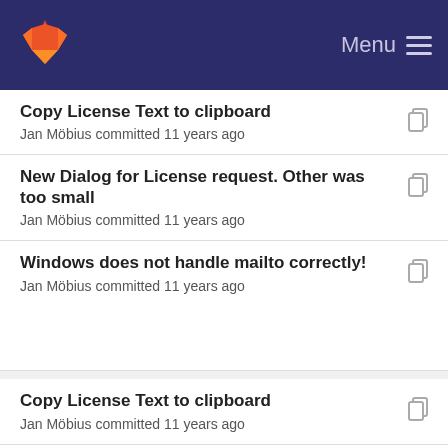GitLab - Menu
Copy License Text to clipboard
Jan Möbius committed 11 years ago
New Dialog for License request. Other was too small
Jan Möbius committed 11 years ago
Windows does not handle mailto correctly!
Jan Möbius committed 11 years ago
Copy License Text to clipboard
Jan Möbius committed 11 years ago
Windows does not handle mailto correctly!
Jan Möbius committed 11 years ago
Copy license text of license info...